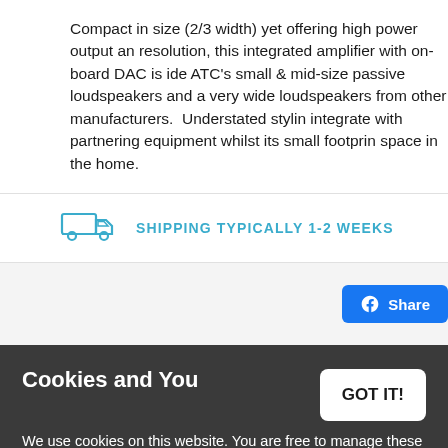Compact in size (2/3 width) yet offering high power output and resolution, this integrated amplifier with on-board DAC is ideal for ATC's small & mid-size passive loudspeakers and a very wide loudspeakers from other manufacturers.  Understated styling integrate with partnering equipment whilst its small footprint space in the home.
SHIPPING TYPICALLY 1-2 WEEKS
[Figure (screenshot): Facebook Share button]
Cookies and You
We use cookies on this website. You are free to manage these via your browser settings at any time. For more about how we use cookies, please see our Privacy Policy.